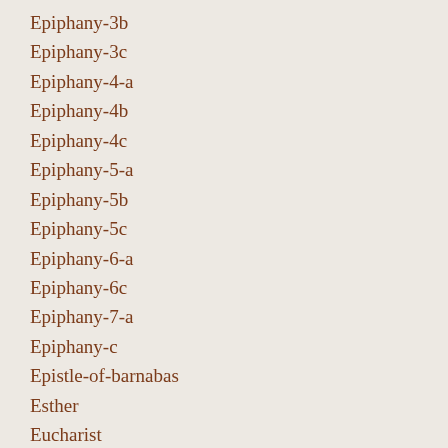Epiphany-3b
Epiphany-3c
Epiphany-4-a
Epiphany-4b
Epiphany-4c
Epiphany-5-a
Epiphany-5b
Epiphany-5c
Epiphany-6-a
Epiphany-6c
Epiphany-7-a
Epiphany-c
Epistle-of-barnabas
Esther
Eucharist
Eve-of-the-circumcision-of-christ
Exodus
Exodus-20
Eybers 1975